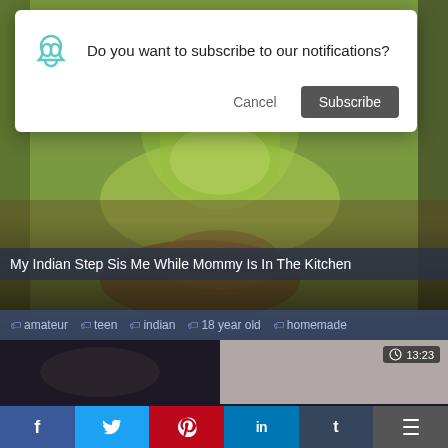[Figure (screenshot): Browser notification subscription dialog overlay on video thumbnail. Dialog shows an infinity/loop icon, text 'Do you want to subscribe to our notifications?', Cancel button, and Subscribe button.]
Do you want to subscribe to our notifications?
Cancel
Subscribe
My Indian Step Sis Me While Mommy Is In The Kitchen
amateur  teen  indian  18 year old  homemade
[Figure (screenshot): Second video thumbnail, partially visible, with timer badge showing 13:23]
13:23
f  t  p  in  t  ☰